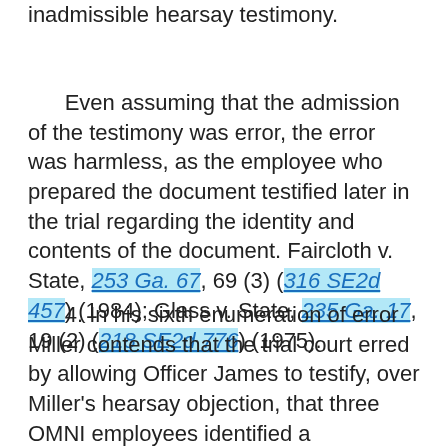inadmissible hearsay testimony.
Even assuming that the admission of the testimony was error, the error was harmless, as the employee who prepared the document testified later in the trial regarding the identity and contents of the document. Faircloth v. State, 253 Ga. 67, 69 (3) (316 SE2d 457) (1984); Glass v. State, 235 Ga. 17, 19 (2) (218 SE2d 776) (1975).
4. In his sixth enumeration of error Miller contends that the trial court erred by allowing Officer James to testify, over Miller's hearsay objection, that three OMNI employees identified a photograph of Miller as the man they saw